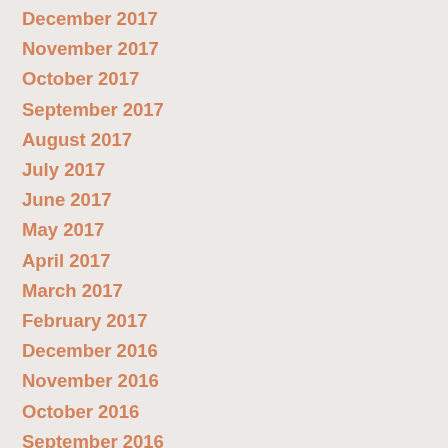December 2017
November 2017
October 2017
September 2017
August 2017
July 2017
June 2017
May 2017
April 2017
March 2017
February 2017
December 2016
November 2016
October 2016
September 2016
August 2016
July 2016
June 2016
May 2016